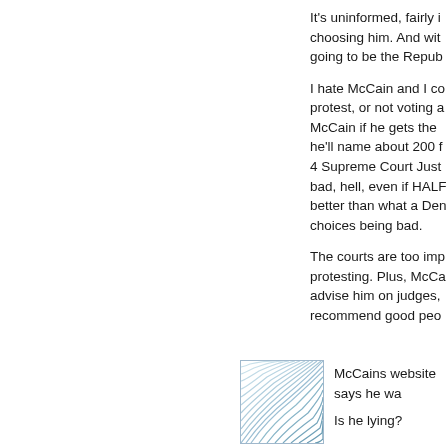It's uninformed, fairly ignorant reason for choosing him. And with that said, McCain is going to be the Repub...
I hate McCain and I could see voting in protest, or not voting at all. But I'd vote for McCain if he gets the nomination because he'll name about 200 federal judges and 3 or 4 Supreme Court Justices. Even if they're bad, hell, even if HALF are bad, that's better than what a Democrat would do. All choices being bad.
The courts are too important to throw away protesting. Plus, McCain has said he'd advise him on judges, and they'd recommend good peo...
[Figure (illustration): Small square avatar image with blue wave/arc pattern on white background, bordered]
McCains website says he wa...

Is he lying?